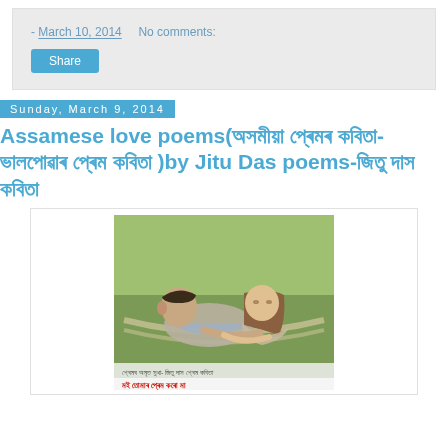- March 10, 2014   No comments:
Share
Sunday, March 9, 2014
Assamese love poems(অসমীয়া প্ৰেমৰ কবিতা-ভালপোৱাৰ প্ৰেম কবিতা )by Jitu Das poems-জিতু দাস কবিতা
[Figure (photo): A couple reclining in a hammock outdoors in a green setting, with Assamese text overlay at the bottom of the image referencing love poems by Jitu Das.]